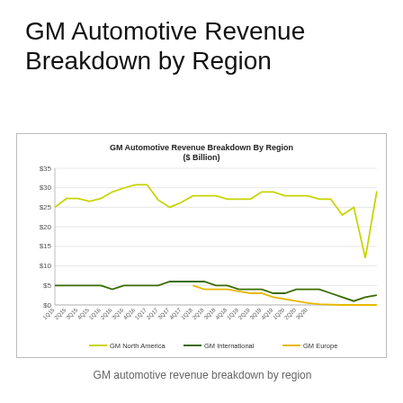GM Automotive Revenue Breakdown by Region
[Figure (line-chart): GM Automotive Revenue Breakdown By Region ($ Billion)]
GM automotive revenue breakdown by region